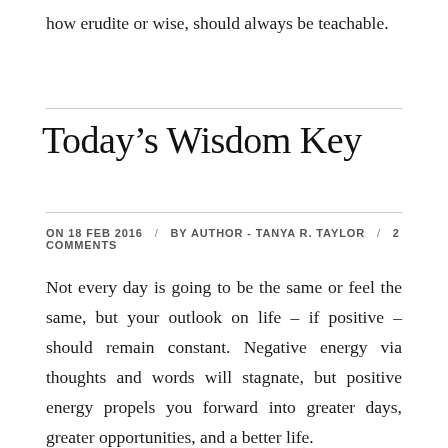how erudite or wise, should always be teachable.
Today’s Wisdom Key
ON 18 FEB 2016 / BY AUTHOR - TANYA R. TAYLOR / 2 COMMENTS
Not every day is going to be the same or feel the same, but your outlook on life – if positive – should remain constant. Negative energy via thoughts and words will stagnate, but positive energy propels you forward into greater days, greater opportunities, and a better life.